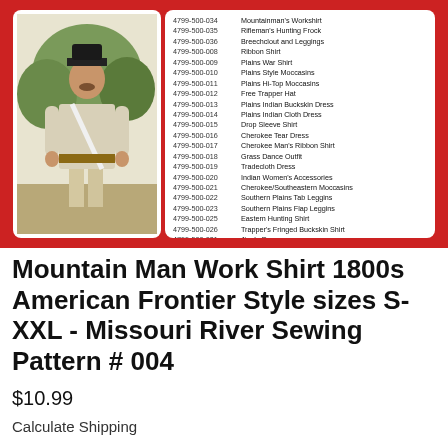[Figure (photo): Product listing screenshot showing a man wearing a mountain man work shirt (frontier style, light gray with brown belt and white strap) on the left panel, and a catalog list of sewing pattern numbers and names on the right panel, all within a red-bordered card.]
Mountain Man Work Shirt 1800s American Frontier Style sizes S-XXL - Missouri River Sewing Pattern # 004
$10.99
Calculate Shipping